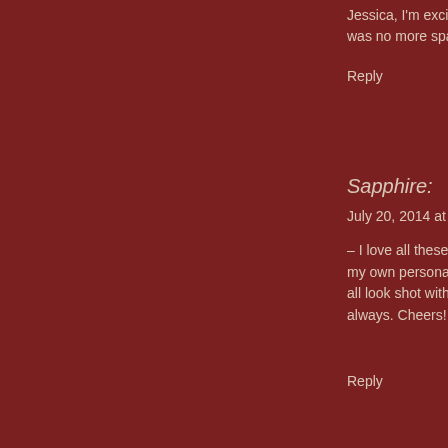Jessica, I'm excited to was no more space)–
Reply
Sapphire:
July 20, 2014 at 5:48
– I love all these textu my own personal bias all look shot with film. always. Cheers!
Reply
Crystal:
February 22, 2015 at
wussies?What a joke cases, equals the exa ire is libearls. …Serio can get some more d some kids whose par country into an unvali
Reply
online auto insura
March 30, 2015 at 2:2